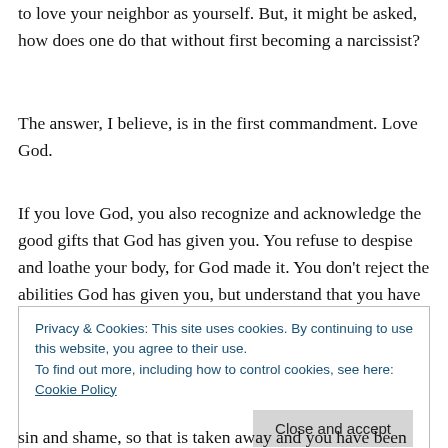to love your neighbor as yourself. But, it might be asked, how does one do that without first becoming a narcissist?
The answer, I believe, is in the first commandment. Love God.
If you love God, you also recognize and acknowledge the good gifts that God has given you. You refuse to despise and loathe your body, for God made it. You don't reject the abilities God has given you, but understand that you have many good gifts given to you by your good Father in heaven.
Privacy & Cookies: This site uses cookies. By continuing to use this website, you agree to their use.
To find out more, including how to control cookies, see here: Cookie Policy
Close and accept
sin and shame, so that is taken away and you have been